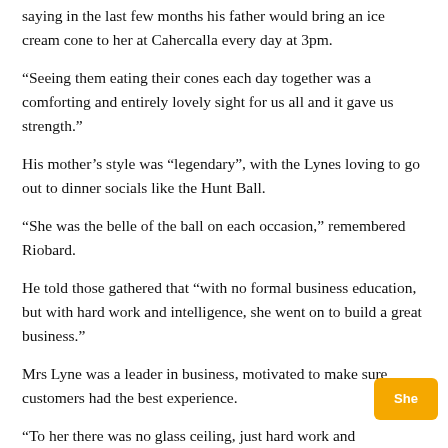saying in the last few months his father would bring an ice cream cone to her at Cahercalla every day at 3pm.
“Seeing them eating their cones each day together was a comforting and entirely lovely sight for us all and it gave us strength.”
His mother’s style was “legendary”, with the Lynes loving to go out to dinner socials like the Hunt Ball.
“She was the belle of the ball on each occasion,” remembered Riobard.
He told those gathered that “with no formal business education, but with hard work and intelligence, she went on to build a great business.”
Mrs Lyne was a leader in business, motivated to make sure customers had the best experience.
“To her there was no glass ceiling, just hard work and dedication. She was inspirational and a woman ahead of her time.”